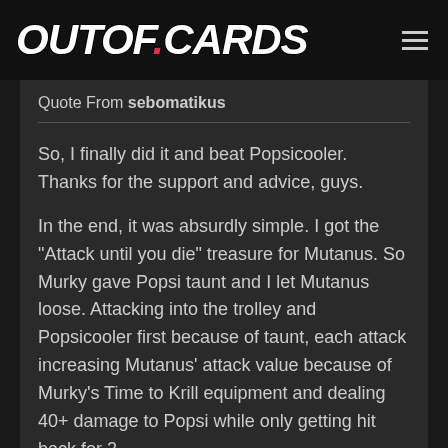OUTOF.CARDS
Quote From sebomatikus
So, I finally did it and beat Popsicooler. Thanks for the support and advice, guys.

In the end, it was absurdly simple. I got the "Attack until you die" treasure for Mutanus. So Murky gave Popsi taunt and I let Mutanus loose. Attacking into the trolley and Popsicooler first because of taunt, each attack increasing Mutanus' attack value because of Murky's Time to Krill equipment and dealing 40+ damage to Popsi while only getting hit back for 2